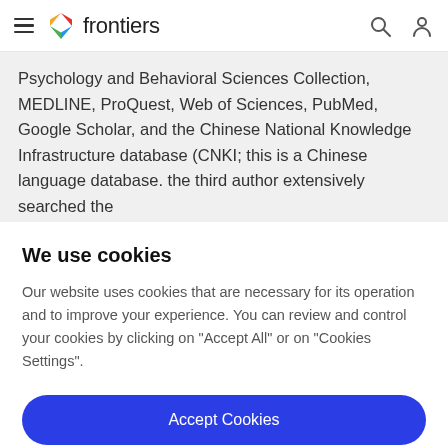frontiers
Psychology and Behavioral Sciences Collection, MEDLINE, ProQuest, Web of Sciences, PubMed, Google Scholar, and the Chinese National Knowledge Infrastructure database (CNKI; this is a Chinese language database. the third author extensively searched the
We use cookies
Our website uses cookies that are necessary for its operation and to improve your experience. You can review and control your cookies by clicking on "Accept All" or on "Cookies Settings".
Accept Cookies
Cookies Settings